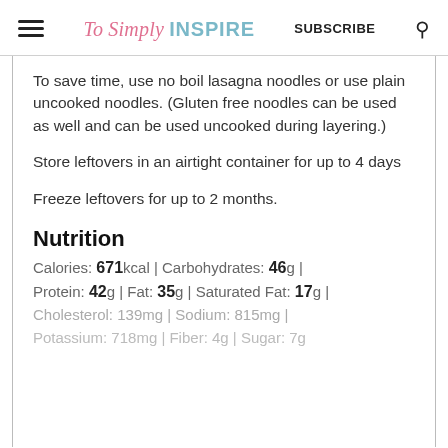To Simply INSPIRE | SUBSCRIBE
To save time, use no boil lasagna noodles or use plain uncooked noodles. (Gluten free noodles can be used as well and can be used uncooked during layering.)
Store leftovers in an airtight container for up to 4 days
Freeze leftovers for up to 2 months.
Nutrition
Calories: 671kcal | Carbohydrates: 46g | Protein: 42g | Fat: 35g | Saturated Fat: 17g | Cholesterol: 139mg | Sodium: 815mg | Potassium: 718mg | Fiber: 4g | Sugar: 7g